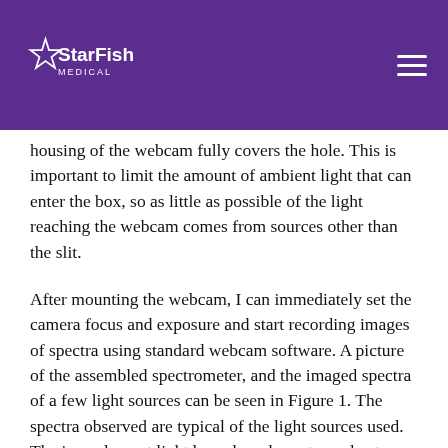StarFish Medical
housing of the webcam fully covers the hole. This is important to limit the amount of ambient light that can enter the box, so as little as possible of the light reaching the webcam comes from sources other than the slit.
After mounting the webcam, I can immediately set the camera focus and exposure and start recording images of spectra using standard webcam software. A picture of the assembled spectrometer, and the imaged spectra of a few light sources can be seen in Figure 1. The spectra observed are typical of the light sources used. The incandescent light has a broad spectrum due to blackbody radiation. The LED light (this particular one is a “soft white” LED bulb) has a broad spectrum from an emitting phosphor along with an additional shoulder on the blue side of the spectrum, corresponding to the light used to